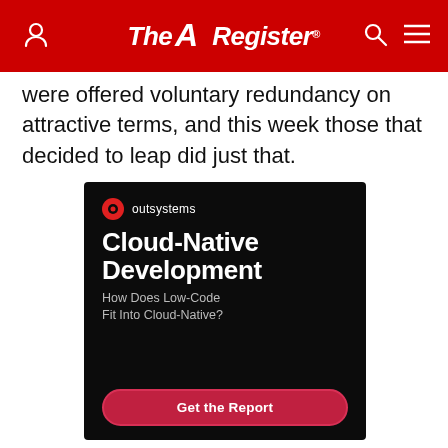The Register
were offered voluntary redundancy on attractive terms, and this week those that decided to leap did just that.
[Figure (illustration): OutSystems advertisement: Cloud-Native Development. How Does Low-Code Fit Into Cloud-Native? Get the Report button. Dark background with OutSystems logo.]